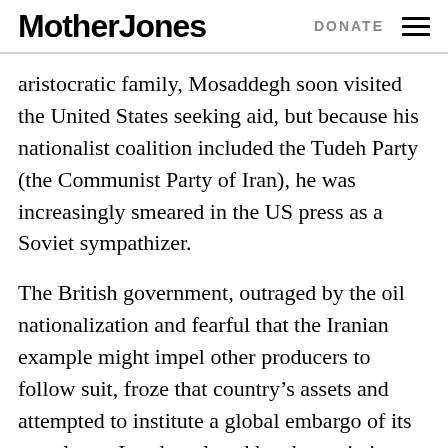Mother Jones   DONATE
aristocratic family, Mosaddegh soon visited the United States seeking aid, but because his nationalist coalition included the Tudeh Party (the Communist Party of Iran), he was increasingly smeared in the US press as a Soviet sympathizer.
The British government, outraged by the oil nationalization and fearful that the Iranian example might impel other producers to follow suit, froze that country's assets and attempted to institute a global embargo of its petroleum. London placed harsh restrictions on Tehran's ability to trade, and made it difficult for Iran to convert the pounds sterling it held in British banks. Initially, President